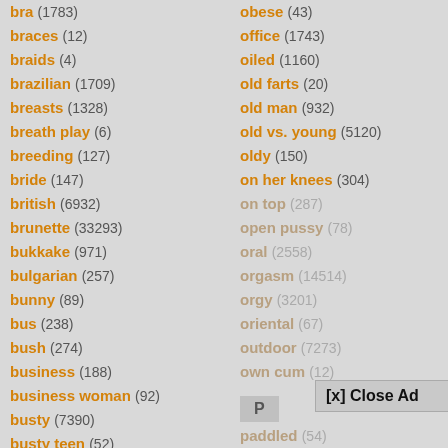bra (1783)
braces (12)
braids (4)
brazilian (1709)
breasts (1328)
breath play (6)
breeding (127)
bride (147)
british (6932)
brunette (33293)
bukkake (971)
bulgarian (257)
bunny (89)
bus (238)
bush (274)
business (188)
business woman (92)
busty (7390)
busty teen (52)
obese (43)
office (1743)
oiled (1160)
old farts (20)
old man (932)
old vs. young (5120)
oldy (150)
on her knees (304)
on top (287)
open pussy (78)
oral (2558)
orgasm (14514)
orgy (3201)
oriental (67)
outdoor (7273)
own cum (12)
P
paddled (54)